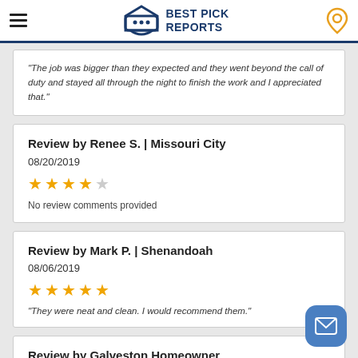Best Pick Reports
"The job was bigger than they expected and they went beyond the call of duty and stayed all through the night to finish the work and I appreciated that."
Review by Renee S. | Missouri City
08/20/2019
[Figure (other): 4 out of 5 stars rating]
No review comments provided
Review by Mark P. | Shenandoah
08/06/2019
[Figure (other): 5 out of 5 stars rating]
"They were neat and clean. I would recommend them."
Review by Galveston Homeowner
08/05/2019